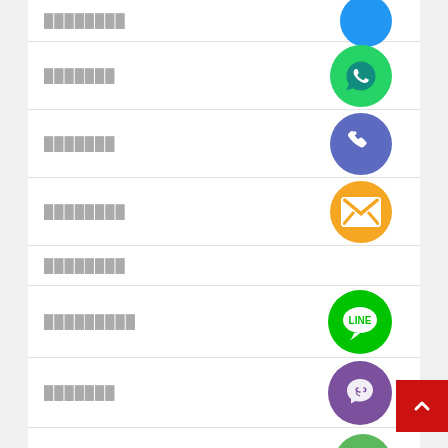████████
[Figure (illustration): WhatsApp green icon circle]
███████
[Figure (illustration): Phone call blue circle icon]
███████
[Figure (illustration): Email/envelope orange circle icon]
████████
[Figure (illustration): LINE messaging green circle icon]
█████████
[Figure (illustration): Viber purple circle icon]
███████
[Figure (illustration): Green circle with X close button]
███████
██████